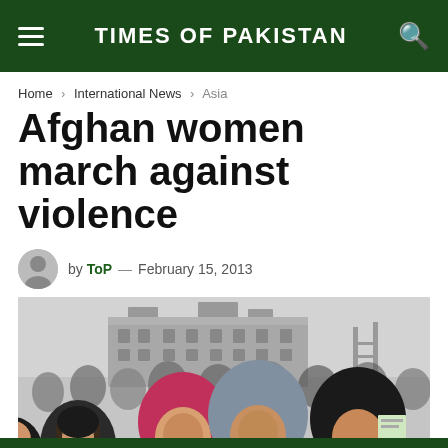TIMES OF PAKISTAN
Home › International News › Asia
Afghan women march against violence
by ToP — February 15, 2013
[Figure (photo): Afghan women marching in a protest against violence, holding banners, with a damaged building visible in the foggy background. Women are dressed in headscarves and winter clothing.]